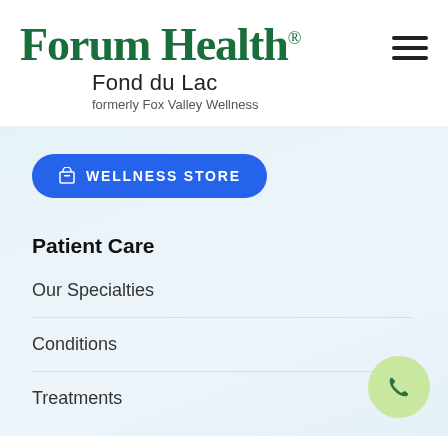[Figure (logo): Forum Health Fond du Lac logo with tagline 'formerly Fox Valley Wellness']
[Figure (other): Hamburger menu icon (three horizontal lines)]
[Figure (other): Blue rounded button labeled 'Wellness Store' with a store icon]
Patient Care
Our Specialties
Conditions
Treatments
[Figure (other): Light green circular phone/call button in bottom right corner]